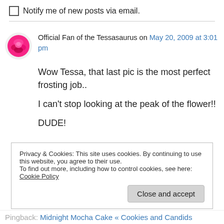Notify me of new posts via email.
Official Fan of the Tessasaurus on May 20, 2009 at 3:01 pm
Wow Tessa, that last pic is the most perfect frosting job..

I can't stop looking at the peak of the flower!!

DUDE!
Privacy & Cookies: This site uses cookies. By continuing to use this website, you agree to their use.
To find out more, including how to control cookies, see here: Cookie Policy
Close and accept
Pingback: Midnight Mocha Cake « Cookies and Candids